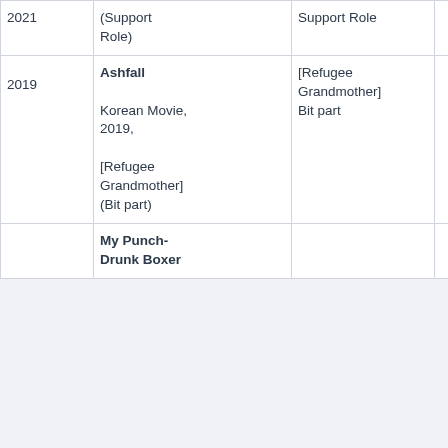| Year | Title | Role | Rating |
| --- | --- | --- | --- |
| 2021 | (Support Role) | Support Role | 0.0 |
| 2019 | Ashfall

Korean Movie, 2019,

[Refugee Grandmother] (Bit part) | [Refugee Grandmother] Bit part | 7.9 |
|  | My Punch-Drunk Boxer |  |  |